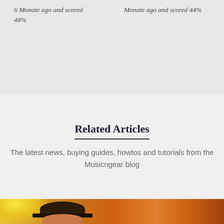6 Monate ago and scored 48%
Monate ago and scored 44%
Related Articles
The latest news, buying guides, howtos and tutorials from the Musicngear blog
[Figure (photo): Photo of a person wearing a hat, with warm orange/yellow lighting background]